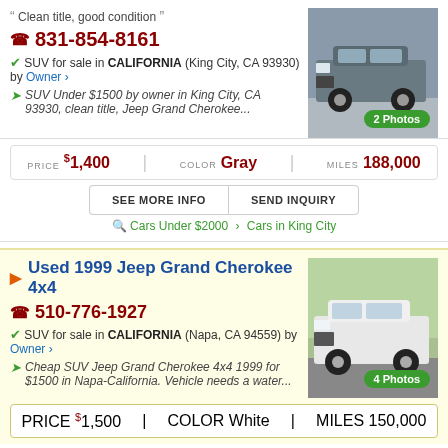Clean title, good condition
831-854-8161
SUV for sale in CALIFORNIA (King City, CA 93930) by Owner
SUV Under $1500 by owner in King City, CA 93930, clean title, Jeep Grand Cherokee...
[Figure (photo): Photo of gray Jeep Grand Cherokee SUV, 2 Photos badge]
| PRICE | COLOR | MILES |
| --- | --- | --- |
| $1,400 | Gray | 188,000 |
SEE MORE INFO | SEND INQUIRY
Cars Under $2000 > Cars in King City
Used 1999 Jeep Grand Cherokee 4x4
510-776-1927
SUV for sale in CALIFORNIA (Napa, CA 94559) by Owner
Cheap SUV Jeep Grand Cherokee 4x4 1999 for $1500 in Napa-California. Vehicle needs a water...
[Figure (photo): Photo of white Jeep Grand Cherokee 4x4, 4 Photos badge]
| PRICE | COLOR | MILES |
| --- | --- | --- |
| $1,500 | White | 150,000 |